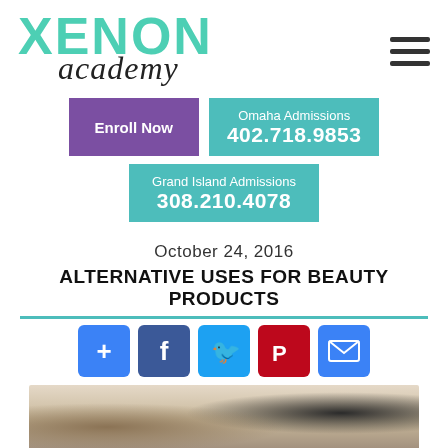[Figure (logo): Xenon Academy logo with teal uppercase XENON text and cursive academy text below]
[Figure (other): Hamburger menu icon (three horizontal lines)]
Enroll Now
Omaha Admissions
402.718.9853
Grand Island Admissions
308.210.4078
October 24, 2016
ALTERNATIVE USES FOR BEAUTY PRODUCTS
[Figure (infographic): Social sharing icons: plus, Facebook, Twitter, Pinterest, email]
[Figure (photo): Partial photo showing beauty products including makeup brushes]